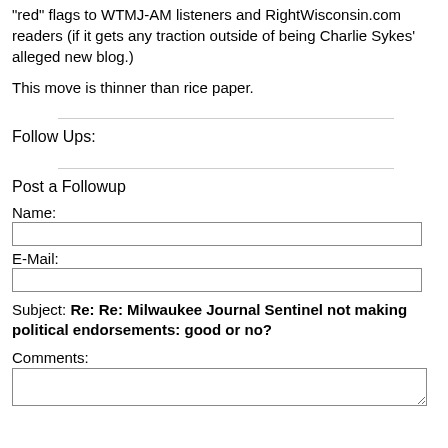“red” flags to WTMJ-AM listeners and RightWisconsin.com readers (if it gets any traction outside of being Charlie Sykes’ alleged new blog.)
This move is thinner than rice paper.
Follow Ups:
Post a Followup
Name:
E-Mail:
Subject: Re: Re: Milwaukee Journal Sentinel not making political endorsements: good or no?
Comments: